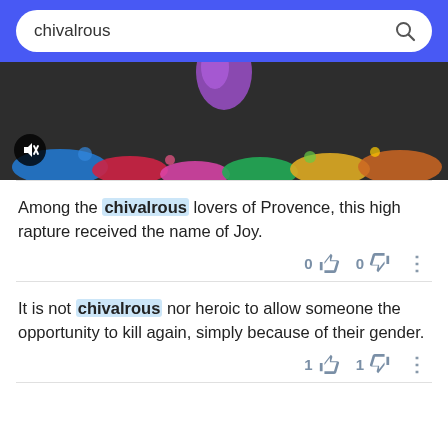chivalrous
[Figure (screenshot): Dark video thumbnail with colorful paint splatter at the bottom and a mute button icon in the lower left]
Among the chivalrous lovers of Provence, this high rapture received the name of Joy.
It is not chivalrous nor heroic to allow someone the opportunity to kill again, simply because of their gender.